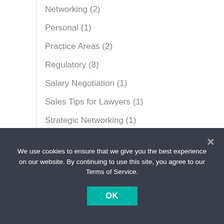Networking (2)
Personal (1)
Practice Areas (2)
Regulatory (8)
Salary Negotiation (1)
Sales Tips for Lawyers (1)
Strategic Networking (1)
Strategic Planning (6)
Succession Planning (7)
technology (3)
We use cookies to ensure that we give you the best experience on our website. By continuing to use this site, you agree to our Terms of Service.